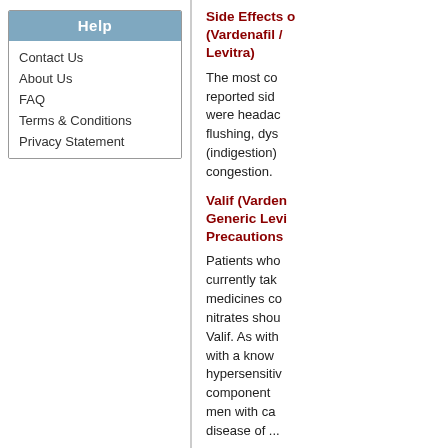Help
Contact Us
About Us
FAQ
Terms & Conditions
Privacy Statement
Side Effects of (Vardenafil / Levitra)
The most commonly reported side effects were headache, flushing, dyspepsia (indigestion), nasal congestion.
Valif (Vardenafil) Generic Levitra Precautions
Patients who are currently taking medicines containing nitrates should not use Valif. As with patients with a known hypersensitivity to any component of, and men with cardiovascular disease of...